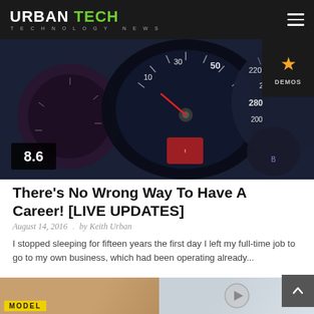URBAN TECH — TECHNOLOGY NEWS
[Figure (photo): Close-up photo of a car dashboard speedometer/gauge cluster with red needle, glowing dials, and numbers including 50, 30, 10, 220, 240, 280, 200. Rating badge showing 8.6 in bottom-left corner. DEMOS star badge in top-right corner.]
There's No Wrong Way To Have A Career! [LIVE UPDATES]
August 14, 2016 . by Keith Urban
I stopped sleeping for fifteen years the first day I left my full-time job to go to my own business, which had been operating already...
READ MORE
[Figure (photo): Bottom strip showing partial image of a woman with MODEL label in yellow, and a partial light-colored image on the right with a play button icon.]